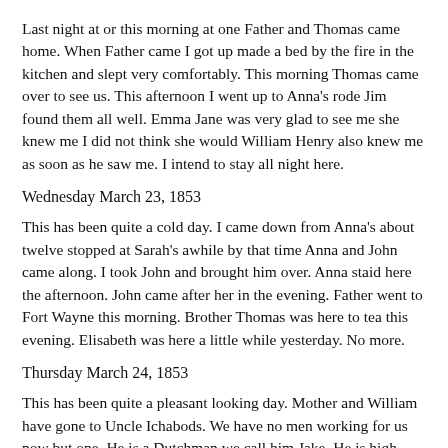Last night at or this morning at one Father and Thomas came home. When Father came I got up made a bed by the fire in the kitchen and slept very comfortably. This morning Thomas came over to see us. This afternoon I went up to Anna's rode Jim found them all well. Emma Jane was very glad to see me she knew me I did not think she would William Henry also knew me as soon as he saw me. I intend to stay all night here.
Wednesday March 23, 1853
This has been quite a cold day. I came down from Anna's about twelve stopped at Sarah's awhile by that time Anna and John came along. I took John and brought him over. Anna staid here the afternoon. John came after her in the evening. Father went to Fort Wayne this morning. Brother Thomas was here to tea this evening. Elisabeth was here a little while yesterday. No more.
Thursday March 24, 1853
This has been quite a pleasant looking day. Mother and William have gone to Uncle Ichabods. We have no men working for us now but one. He is a Dutchman we call him Jake. He is high Dutch. Jimmy is halling wood here today. I went over to help Sister Sarah awhile this morning.